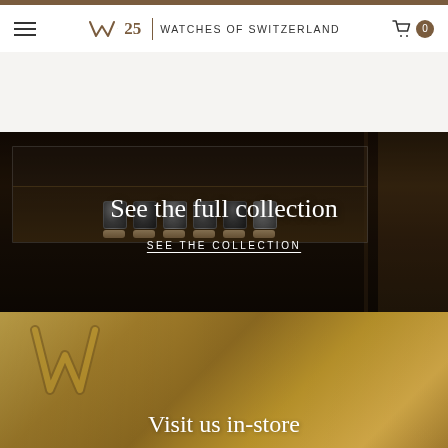WATCHES of SWITZERLAND | 25 | Menu | Cart 0
[Figure (photo): Watch display cases in a luxury watch boutique, showing multiple watches on cushioned display trays inside glass cases, dark wood backdrop]
See the full collection
SEE THE COLLECTION
[Figure (photo): Interior of Watches of Switzerland store, showing golden W logo on a reflective gold surface]
Visit us in-store